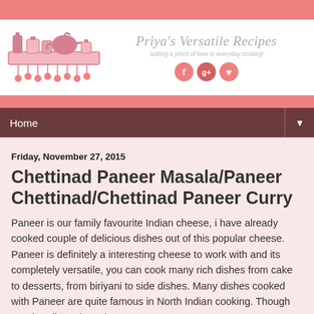[Figure (logo): Priya's Versatile Recipes blog logo with kitchen utensils illustration on the left and cursive blog name and social icons on the right]
Home
Friday, November 27, 2015
Chettinad Paneer Masala/Paneer Chettinad/Chettinad Paneer Curry
Paneer is our family favourite Indian cheese, i have already cooked couple of delicious dishes out of this popular cheese. Paneer is definitely a interesting cheese to work with and its completely versatile, you can cook many rich dishes from cake to desserts, from biriyani to side dishes. Many dishes cooked with Paneer are quite famous in North Indian cooking. Though South Indians do make many more